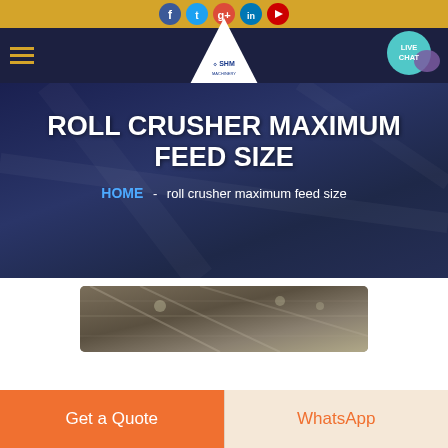SHM - Navigation with social icons and live chat
ROLL CRUSHER MAXIMUM FEED SIZE
HOME  -  roll crusher maximum feed size
[Figure (photo): Industrial warehouse or factory interior with steel roof trusses and lighting]
Get a Quote
WhatsApp